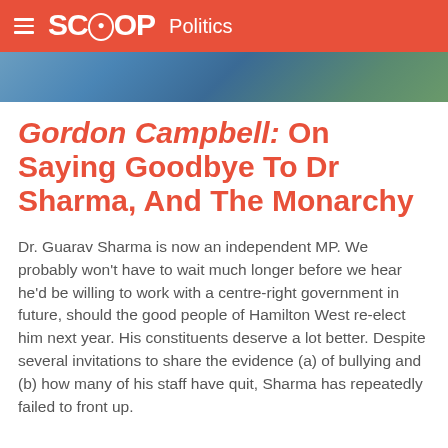SCOOP Politics
[Figure (photo): Partial photo strip visible at top of article, showing a person against a blue background]
Gordon Campbell: On Saying Goodbye To Dr Sharma, And The Monarchy
Dr. Guarav Sharma is now an independent MP. We probably won't have to wait much longer before we hear he'd be willing to work with a centre-right government in future, should the good people of Hamilton West re-elect him next year. His constituents deserve a lot better. Despite several invitations to share the evidence (a) of bullying and (b) how many of his staff have quit, Sharma has repeatedly failed to front up.